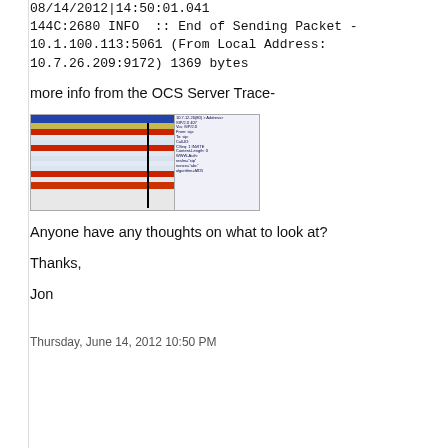08/14/2012|14:50:01.041
144C:2680 INFO  :: End of Sending Packet - 10.1.100.113:5061 (From Local Address: 10.7.26.209:9172) 1369 bytes
more info from the OCS Server Trace-
[Figure (screenshot): Screenshot of OCS Server Trace showing a message trace window with colored rows (blue header, yellow, red highlighted rows, and white rows) and a vertical black line marker. A side panel shows detailed trace information.]
Anyone have any thoughts on what to look at?
Thanks,
Jon
Thursday, June 14, 2012 10:50 PM